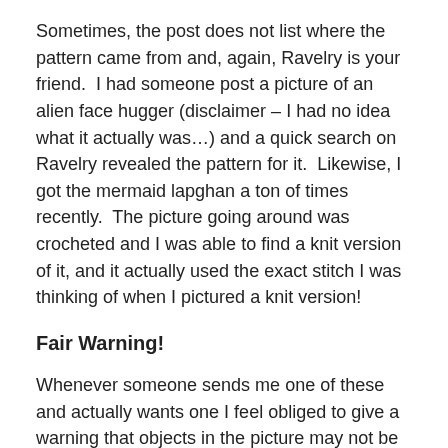Sometimes, the post does not list where the pattern came from and, again, Ravelry is your friend.  I had someone post a picture of an alien face hugger (disclaimer – I had no idea what it actually was…) and a quick search on Ravelry revealed the pattern for it.  Likewise, I got the mermaid lapghan a ton of times recently.  The picture going around was crocheted and I was able to find a knit version of it, and it actually used the exact stitch I was thinking of when I pictured a knit version!
Fair Warning!
Whenever someone sends me one of these and actually wants one I feel obliged to give a warning that objects in the picture may not be how they actually appear in real life.  This ties into the test knit and I will usually tell this person that I will knit one up and see how it comes out and